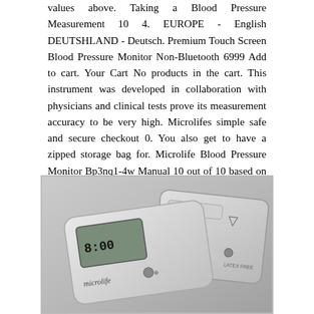values above. Taking a Blood Pressure Measurement 10 4. EUROPE - English DEUTSHLAND - Deutsch. Premium Touch Screen Blood Pressure Monitor Non-Bluetooth 6999 Add to cart. Your Cart No products in the cart. This instrument was developed in collaboration with physicians and clinical tests prove its measurement accuracy to be very high. Microlifes simple safe and secure checkout 0. You also get to have a zipped storage bag for. Microlife Blood Pressure Monitor Bp3nq1-4w Manual 10 out of 10 based on 237 ratings. 5 Electromagnetic interference 6 2.
[Figure (photo): Grayscale photograph of two Microlife blood pressure monitor devices. One device in the foreground shows a display screen reading 8:00 with the microlife brand logo. A second device is visible behind it, also branded microlife. Both devices are white/grey in color against a light background.]